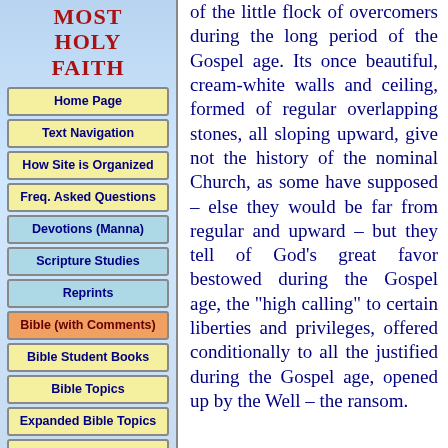MOST HOLY FAITH
Home Page
Text Navigation
How Site is Organized
Freq. Asked Questions
Devotions (Manna)
Scripture Studies
Reprints
Bible (with Comments)
Bible Student Books
Bible Topics
Expanded Bible Topics
Bible Student Webs
Miscellaneous
of the little flock of overcomers during the long period of the Gospel age. Its once beautiful, cream-white walls and ceiling, formed of regular overlapping stones, all sloping upward, give not the history of the nominal Church, as some have supposed – else they would be far from regular and upward – but they tell of God's great favor bestowed during the Gospel age, the "high calling" to certain liberties and privileges, offered conditionally to all the justified during the Gospel age, opened up by the Well – the ransom.